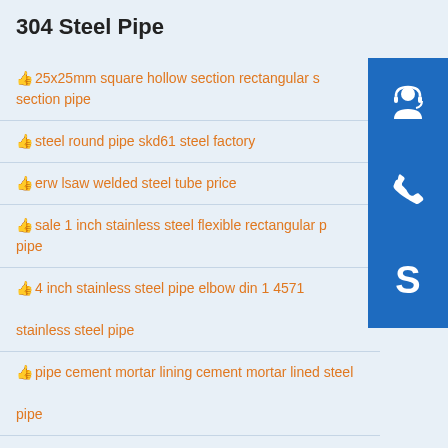304 Steel Pipe
25x25mm square hollow section rectangular section pipe
steel round pipe skd61 steel factory
erw lsaw welded steel tube price
sale 1 inch stainless steel flexible rectangular pipe
4 inch stainless steel pipe elbow din 1 4571 stainless steel pipe
pipe cement mortar lining cement mortar lined steel pipe